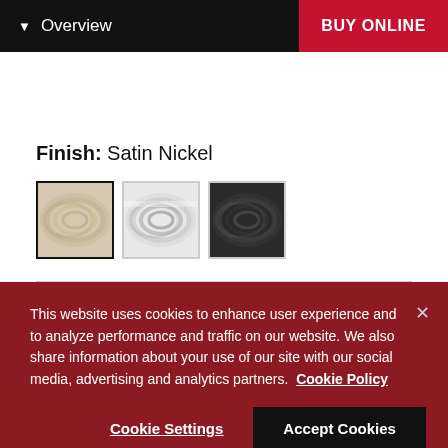Overview | BUY ONLINE
Finish: Satin Nickel
[Figure (photo): Three finish swatches: Satin Nickel (selected, warm beige tone), Chrome (bright silver), and Matte Black (dark gray/black)]
This website uses cookies to enhance user experience and to analyze performance and traffic on our website. We also share information about your use of our site with our social media, advertising and analytics partners.  Cookie Policy
Cookie Settings   Accept Cookies